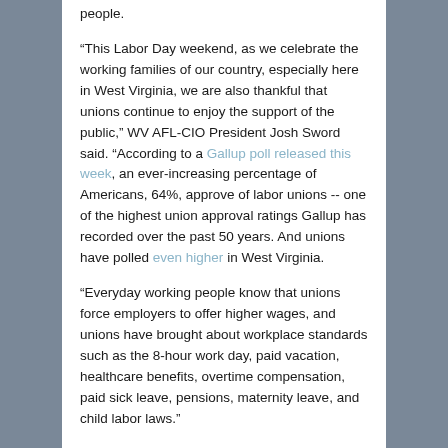people.
“This Labor Day weekend, as we celebrate the working families of our country, especially here in West Virginia, we are also thankful that unions continue to enjoy the support of the public,” WV AFL-CIO President Josh Sword said. “According to a Gallup poll released this week, an ever-increasing percentage of Americans, 64%, approve of labor unions -- one of the highest union approval ratings Gallup has recorded over the past 50 years. And unions have polled even higher in West Virginia.
“Everyday working people know that unions force employers to offer higher wages, and unions have brought about workplace standards such as the 8-hour work day, paid vacation, healthcare benefits, overtime compensation, paid sick leave, pensions, maternity leave, and child labor laws.”
WV AFL-CIO Secretary-Treasurer Andy Walters noted another new report shows a direct link between a decline in union membership and stagnant wages and rising inequality.
“Most people see through the false promises of economic